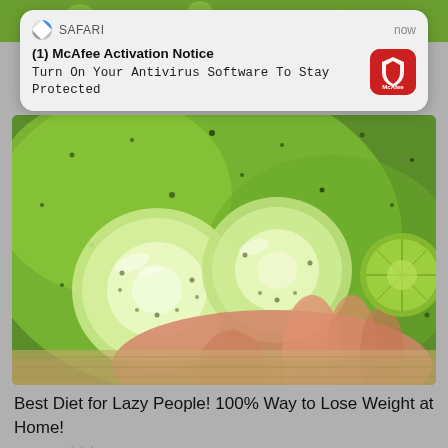[Figure (screenshot): Screenshot of a mobile notification from Safari browser showing a McAfee Activation Notice: '(1) McAfee Activation Notice - Turn On Your Antivirus Software To Stay Protected', with McAfee red logo icon on the right and 'now' timestamp.]
[Figure (photo): Close-up photo of cucumber slices in a glass of water with ice, held by a hand, with a lime slice visible on the right side.]
Best Diet for Lazy People! 100% Way to Lose Weight at Home!
goveyware-toticle.com